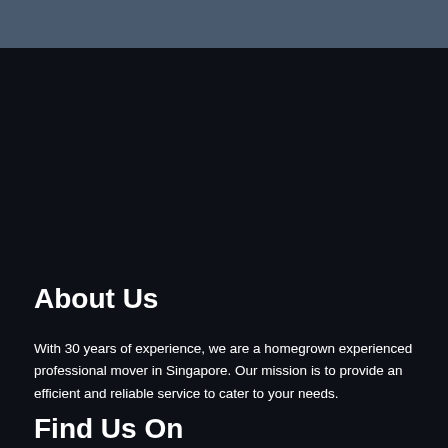About Us
With 30 years of experience, we are a homegrown experienced professional mover in Singapore. Our mission is to provide an efficient and reliable service to cater to your needs.
Find Us On
[Figure (logo): Facebook icon — yellow circle with white 'f' letter]